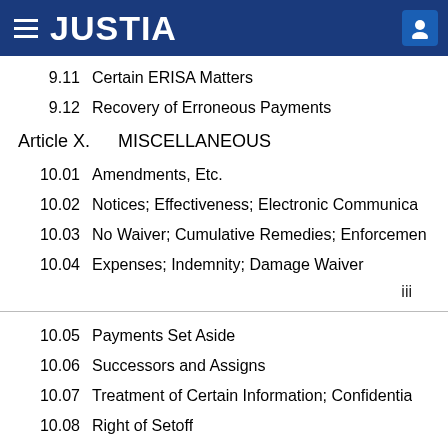JUSTIA
9.11  Certain ERISA Matters
9.12  Recovery of Erroneous Payments
Article X.  MISCELLANEOUS
10.01  Amendments, Etc.
10.02  Notices; Effectiveness; Electronic Communications
10.03  No Waiver; Cumulative Remedies; Enforcement
10.04  Expenses; Indemnity; Damage Waiver
iii
10.05  Payments Set Aside
10.06  Successors and Assigns
10.07  Treatment of Certain Information; Confidentiality
10.08  Right of Setoff
10.09  Interest Rate Limitation